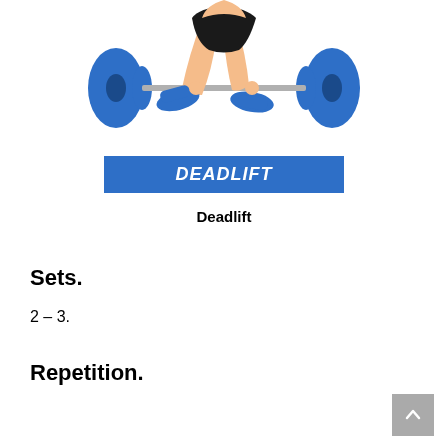[Figure (illustration): Person performing a deadlift exercise, holding a barbell with blue weight plates, bending forward in lifting position, wearing blue shoes and black shorts]
DEADLIFT
Deadlift
Sets.
2 – 3.
Repetition.